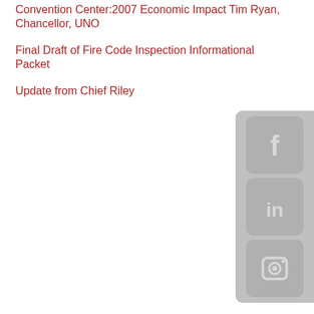Convention Center:2007 Economic Impact Tim Ryan, Chancellor, UNO
Final Draft of Fire Code Inspection Informational Packet
Update from Chief Riley
[Figure (infographic): Social media icons panel on the right side showing Facebook, LinkedIn, and Instagram icons in a gray rounded rectangle bar]